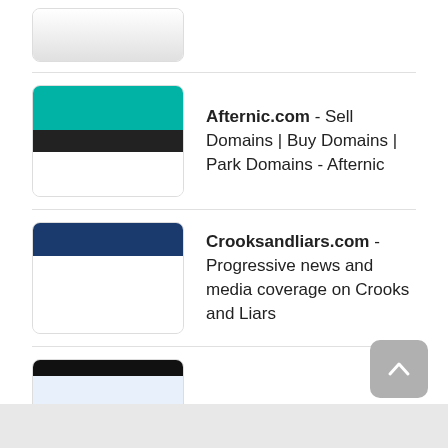[Figure (screenshot): Thumbnail of first website (partially visible at top)]
Afternic.com - Sell Domains | Buy Domains | Park Domains - Afternic
Crooksandliars.com - Progressive news and media coverage on Crooks and Liars
Techdirt.com - Techdirt.
More similar websites